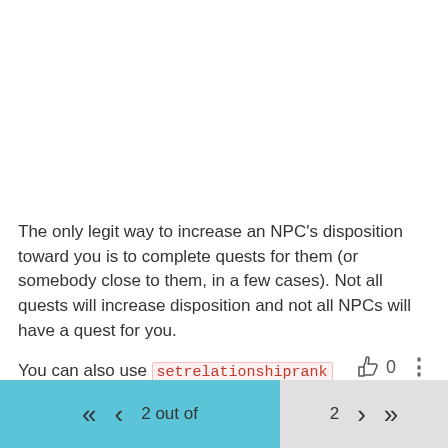The only legit way to increase an NPC's disposition toward you is to complete quests for them (or somebody close to them, in a few cases). Not all quests will increase disposition and not all NPCs will have a quest for you.
You can also use setrelationshiprank player 1 in console to befriended the targeted NPC. Read more about console commands.
2 out of 2